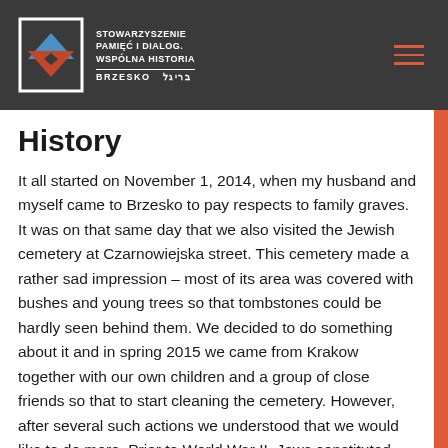STOWARZYSZENIE PAMIĘĆ I DIALOG. WSPÓLNA HISTORIA BRZESKO בריגל
History
It all started on November 1, 2014, when my husband and myself came to Brzesko to pay respects to family graves. It was on that same day that we also visited the Jewish cemetery at Czarnowiejska street. This cemetery made a rather sad impression – most of its area was covered with bushes and young trees so that tombstones could be hardly seen behind them. We decided to do something about it and in spring 2015 we came from Krakow together with our own children and a group of close friends so that to start cleaning the cemetery. However, after several such actions we understood that we would like to do more. Prior to World War II, Jews constituted over half of Brzesko